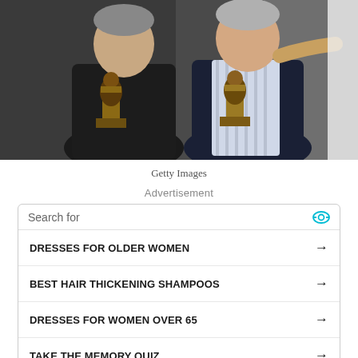[Figure (photo): Two people posing together, each holding a dark trophy/award statue. Left person wearing dark jacket, right person wearing striped shirt and dark blazer. Photo credit: Getty Images.]
Getty Images
Advertisement
Search for
DRESSES FOR OLDER WOMEN →
BEST HAIR THICKENING SHAMPOOS →
DRESSES FOR WOMEN OVER 65 →
TAKE THE MEMORY QUIZ →
TAKE AN IQ TEST →